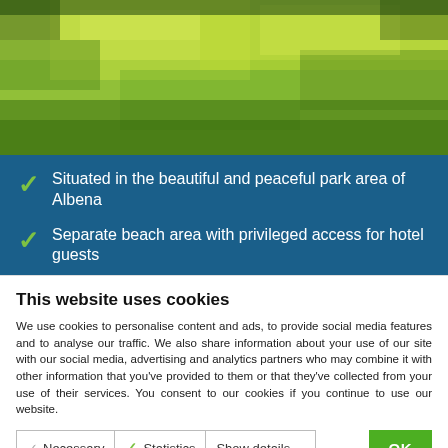[Figure (photo): Green grassy lawn / park area, bright sunlit outdoor scene viewed from above at a slight angle]
Situated in the beautiful and peaceful park area of Albena
Separate beach area with privileged access for hotel guests
This website uses cookies
We use cookies to personalise content and ads, to provide social media features and to analyse our traffic. We also share information about your use of our site with our social media, advertising and analytics partners who may combine it with other information that you've provided to them or that they've collected from your use of their services. You consent to our cookies if you continue to use our website.
Necessary  Statistics  Show details  OK